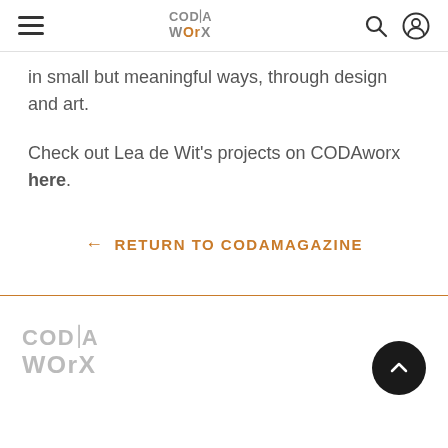CODAworx navigation header with logo, search and user icons
in small but meaningful ways, through design and art.
Check out Lea de Wit's projects on CODAworx here.
← RETURN TO CODAMAGAZINE
CODAworx footer logo with scroll-to-top button